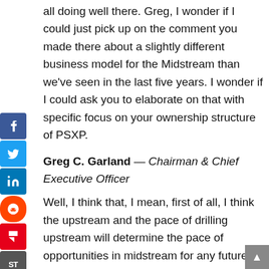all doing well there. Greg, I wonder if I could just pick up on the comment you made there about a slightly different business model for the Midstream than we've seen in the last five years. I wonder if I could ask you to elaborate on that with specific focus on your ownership structure of PSXP.
Greg C. Garland — Chairman & Chief Executive Officer
Well, I think that, I mean, first of all, I think the upstream and the pace of drilling upstream will determine the pace of opportunities in midstream for any future growth targets. So we talked about a lot. And so, we'll see — I suspect we're in a period of stronger capital discipline from the upstream players and in a mode of returning more capital to shareholders, which will, by definition, probably slow the growth of upstream. And